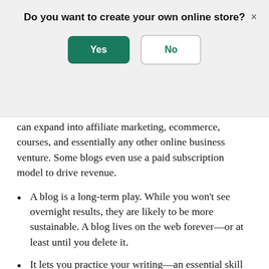Do you want to create your own online store?
can expand into affiliate marketing, ecommerce, courses, and essentially any other online business venture. Some blogs even use a paid subscription model to drive revenue.
A blog is a long-term play. While you won't see overnight results, they are likely to be more sustainable. A blog lives on the web forever—or at least until you delete it.
It lets you practice your writing—an essential skill to have in business and communication. Use tools like Grammarly or